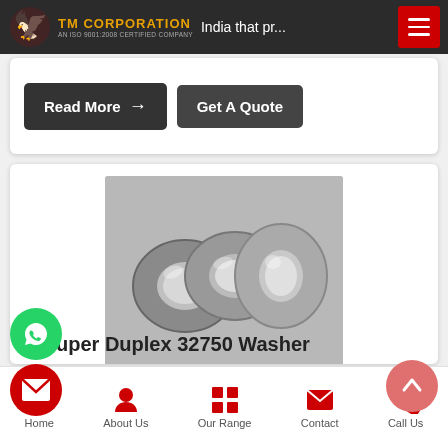TM CORPORATION AN ISO 9001:2008 CERTIFIED COMPANY | India that pr...
[Figure (screenshot): Two dark buttons: 'Read More →' and 'Get A Quote' on a white card]
[Figure (photo): Three metallic flat washers (Super Duplex 32750 Washer) on a grey background]
uper Duplex 32750 Washer
Home | About Us | Our Range | Contact | Call Us